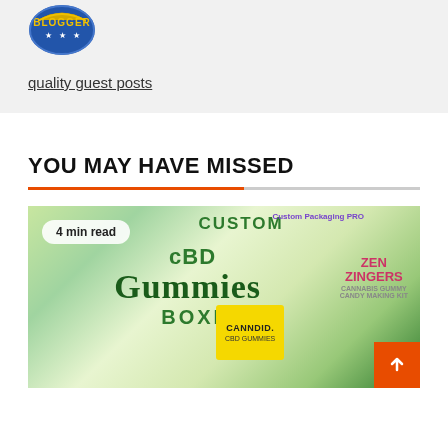[Figure (logo): Blogger badge/seal logo in blue and yellow]
quality guest posts
YOU MAY HAVE MISSED
[Figure (photo): Custom CBD Gummies Boxes promotional image showing various CBD gummy product packaging including Canndid CBD Gummies yellow box and Zen Zingers cannabis gummy candy making kit, with green watercolor background. Badge shows '4 min read'.]